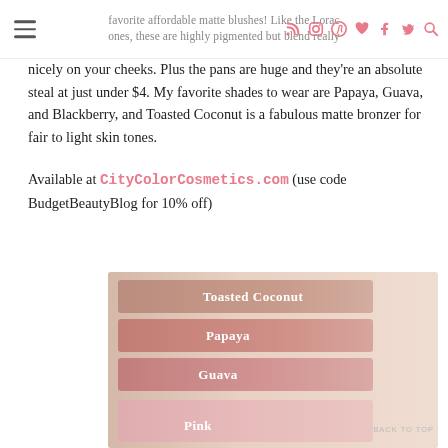favorite affordable matte blushes! Like the Lorac ones, these are highly pigmented but blend really
nicely on your cheeks. Plus the pans are huge and they're an absolute steal at just under $4. My favorite shades to wear are Papaya, Guava, and Blackberry, and Toasted Coconut is a fabulous matte bronzer for fair to light skin tones.
Available at CityColorCosmetics.com (use code BudgetBeautyBlog for 10% off)
[Figure (photo): Photo of blush swatches on skin showing shades labeled Toasted Coconut, Papaya, Guava, and Pink from top to bottom]